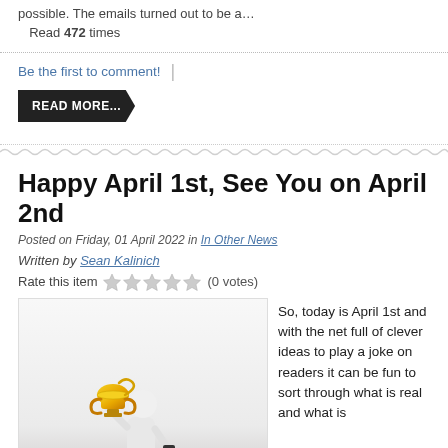possible. The emails turned out to be a…
Read 472 times
Be the first to comment!
READ MORE...
Happy April 1st, See You on April 2nd
Posted on Friday, 01 April 2022 in In Other News
Written by Sean Kalinich
Rate this item (0 votes)
[Figure (illustration): A white stick figure holding a gold trophy cup above its head, with a gray shadow at the bottom.]
So, today is April 1st and with the net full of clever ideas to play a joke on readers it can be fun to sort through what is real and what is